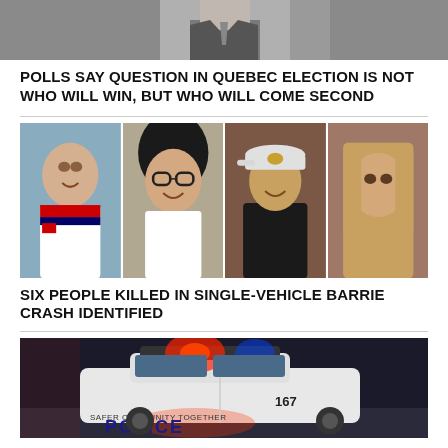[Figure (photo): Partial photo of a man in a suit, cropped at top of page]
POLLS SAY QUESTION IN QUEBEC ELECTION IS NOT WHO WILL WIN, BUT WHO WILL COME SECOND
[Figure (photo): Four portrait photos side by side: young man in hockey jersey, young woman with glasses, young man in black shirt and cap, young woman with long hair]
SIX PEOPLE KILLED IN SINGLE-VEHICLE BARRIE CRASH IDENTIFIED
[Figure (photo): Police car with lights on at night, marked 167 and SAFER COMMUNITY TOGETHER, POLICE visible on side]